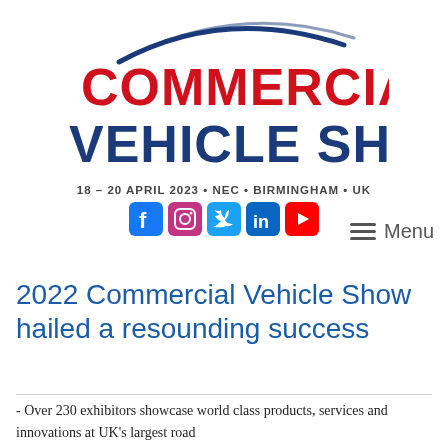[Figure (logo): Commercial Vehicle Show logo with arc above text in red and dark blue, '18 - 20 APRIL 2023 • NEC • BIRMINGHAM • UK' tagline below]
[Figure (infographic): Social media icons: Facebook (blue), Instagram (gradient pink/purple), Twitter (blue bird), LinkedIn (blue), YouTube (red)]
≡  Menu
2022 Commercial Vehicle Show hailed a resounding success
- Over 230 exhibitors showcase world class products, services and innovations at UK's largest road